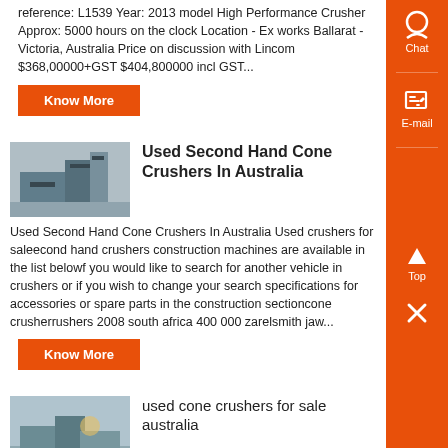reference: L1539 Year: 2013 model High Performance Crusher Approx: 5000 hours on the clock Location - Ex works Ballarat - Victoria, Australia Price on discussion with Lincom $368,00000+GST $404,800000 incl GST...
Know More
[Figure (photo): Industrial cone crusher machinery photo]
Used Second Hand Cone Crushers In Australia
Used Second Hand Cone Crushers In Australia Used crushers for saleecond hand crushers construction machines are available in the list belowf you would like to search for another vehicle in crushers or if you wish to change your search specifications for accessories or spare parts in the construction sectioncone crusherrushers 2008 south africa 400 000 zarelsmith jaw...
Know More
[Figure (photo): Outdoor cone crusher or screening plant photo]
used cone crushers for sale australia
Used Screening & Crushing Machines for Sale and hire Precisionscreen has a range of used & second hand crushing & screening plants available for sale at competitive prices including used Cone Crushers, used